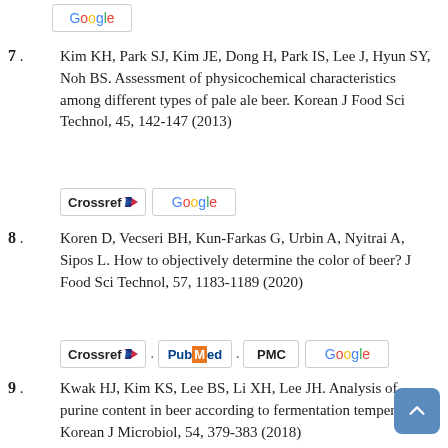[Figure (logo): Google logo badge at top of page]
7 . Kim KH, Park SJ, Kim JE, Dong H, Park IS, Lee J, Hyun SY, Noh BS. Assessment of physicochemical characteristics among different types of pale ale beer. Korean J Food Sci Technol, 45, 142-147 (2013)
[Figure (logo): Crossref and Google badge links for reference 7]
8 . Koren D, Vecseri BH, Kun-Farkas G, Urbin A, Nyitrai A, Sipos L. How to objectively determine the color of beer? J Food Sci Technol, 57, 1183-1189 (2020)
[Figure (logo): Crossref, PubMed, PMC, and Google badge links for reference 8]
9 . Kwak HJ, Kim KS, Lee BS, Li XH, Lee JH. Analysis of purine content in beer according to fermentation temperature. Korean J Microbiol, 54, 379-383 (2018)
[Figure (logo): Google badge link for reference 9]
10 . Lee SK, Park JY, Park HY, Choi HS, Cho D, Oh SK, Kim HJ. Evaluation of quality characteristics of beer by addition of rice rate. Korean J Food Preserv, 24, 758-763 (2017)